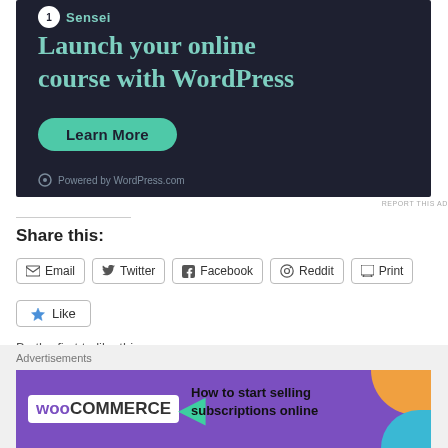[Figure (illustration): Dark-background advertisement for Sensei plugin: 'Launch your online course with WordPress' with a teal 'Learn More' button and 'Powered by WordPress.com' footer]
REPORT THIS AD
Share this:
Email
Twitter
Facebook
Reddit
Print
Like
Be the first to like this.
Advertisements
[Figure (illustration): WooCommerce advertisement: 'How to start selling subscriptions online' with purple background, white WooCommerce logo, teal arrow, and orange/blue decorative blobs]